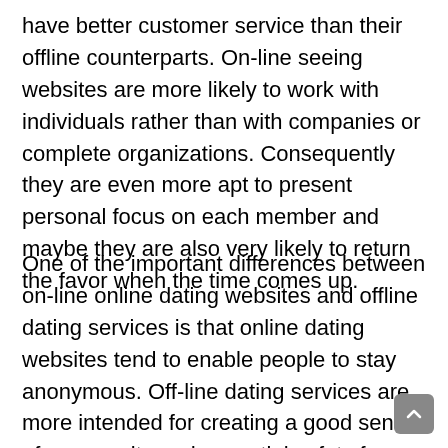have better customer service than their offline counterparts. On-line seeing websites are more likely to work with individuals rather than with companies or complete organizations. Consequently they are even more apt to present personal focus on each member and maybe they are also very likely to return the favor when the time comes up.
One of the important differences between on-line online dating websites and offline dating services is that online dating websites tend to enable people to stay anonymous. Off-line dating services are more intended for creating a good sense of community and essential safety for people in the hopes that this will make a better knowledge for everyone engaged.